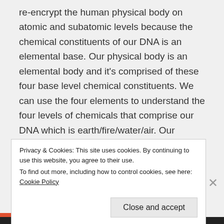re-encrypt the human physical body on atomic and subatomic levels because the chemical constituents of our DNA is an elemental base. Our physical body is an elemental body and it's comprised of these four base level chemical constituents. We can use the four elements to understand the four levels of chemicals that comprise our DNA which is earth/fire/water/air. Our human bodies are not transmuting fast enough the karmic base of Negative Form, the Miasma, that was needed in
Privacy & Cookies: This site uses cookies. By continuing to use this website, you agree to their use.
To find out more, including how to control cookies, see here: Cookie Policy